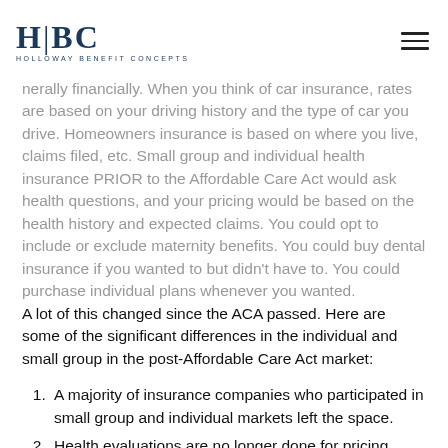H|BC Holloway Benefit Concepts
nerally financially. When you think of car insurance, rates are based on your driving history and the type of car you drive. Homeowners insurance is based on where you live, claims filed, etc. Small group and individual health insurance PRIOR to the Affordable Care Act would ask health questions, and your pricing would be based on the health history and expected claims. You could opt to include or exclude maternity benefits. You could buy dental insurance if you wanted to but didn’t have to. You could purchase individual plans whenever you wanted.
A lot of this changed since the ACA passed. Here are some of the significant differences in the individual and small group in the post-Affordable Care Act market:
A majority of insurance companies who participated in small group and individual markets left the space.
Health evaluations are no longer done for pricing.
Maternity is covered and embedded into all plans, just